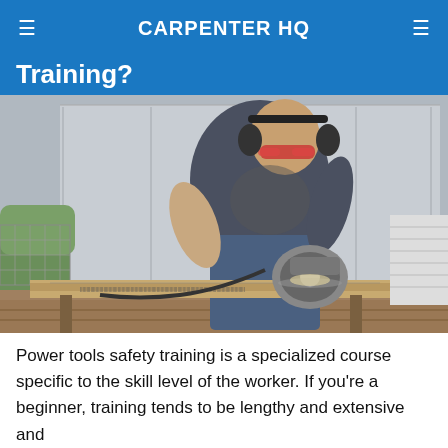CARPENTER HQ
Training?
[Figure (photo): A man wearing safety glasses and ear protection using a circular saw to cut a large piece of wood on an outdoor worksite.]
Power tools safety training is a specialized course specific to the skill level of the worker. If you're a beginner, training tends to be lengthy and extensive and